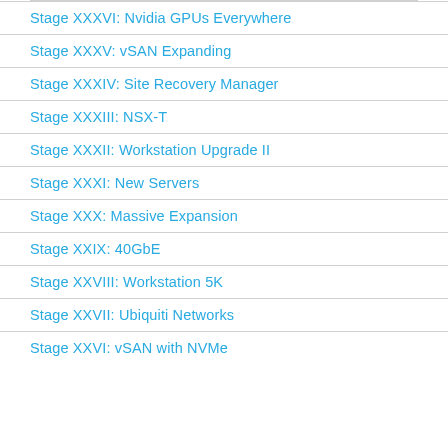Stage XXXVI: Nvidia GPUs Everywhere
Stage XXXV: vSAN Expanding
Stage XXXIV: Site Recovery Manager
Stage XXXIII: NSX-T
Stage XXXII: Workstation Upgrade II
Stage XXXI: New Servers
Stage XXX: Massive Expansion
Stage XXIX: 40GbE
Stage XXVIII: Workstation 5K
Stage XXVII: Ubiquiti Networks
Stage XXVI: vSAN with NVMe